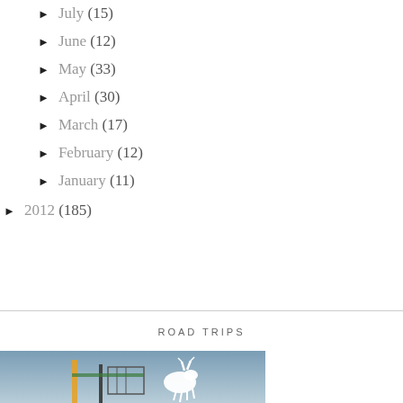► July (15)
► June (12)
► May (33)
► April (30)
► March (17)
► February (12)
► January (11)
► 2012 (185)
ROAD TRIPS
[Figure (photo): Photograph of construction scaffolding or lift equipment against a blue-grey sky, with a white decorative deer/reindeer figure visible]